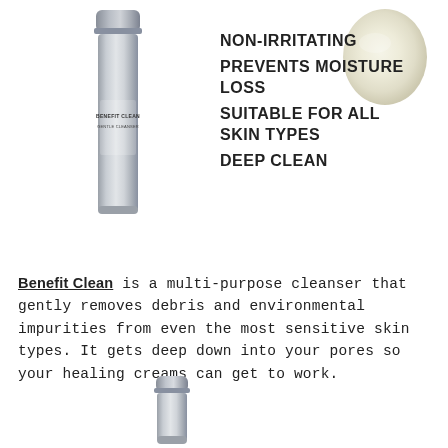[Figure (photo): Silver/grey cylindrical product tube (Benefit Clean Gentle Cleanser) standing upright, positioned on the left side of the top section]
[Figure (photo): Cream-colored oval cosmetic product swatch in the upper right corner]
NON-IRRITATING
PREVENTS MOISTURE LOSS
SUITABLE FOR ALL SKIN TYPES
DEEP CLEAN
Benefit Clean is a multi-purpose cleanser that gently removes debris and environmental impurities from even the most sensitive skin types. It gets deep down into your pores so your healing creams can get to work.
[Figure (photo): Silver/chrome cylindrical product tube bottom portion, shown at the bottom center of the page]